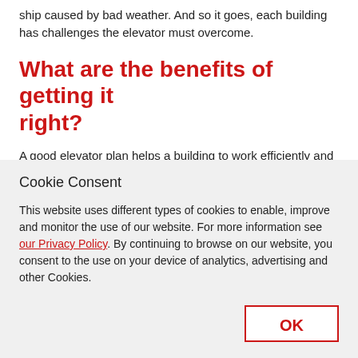ship caused by bad weather. And so it goes, each building has challenges the elevator must overcome.
What are the benefits of getting it right?
A good elevator plan helps a building to work efficiently and
Cookie Consent
This website uses different types of cookies to enable, improve and monitor the use of our website. For more information see our Privacy Policy. By continuing to browse on our website, you consent to the use on your device of analytics, advertising and other Cookies.
OK